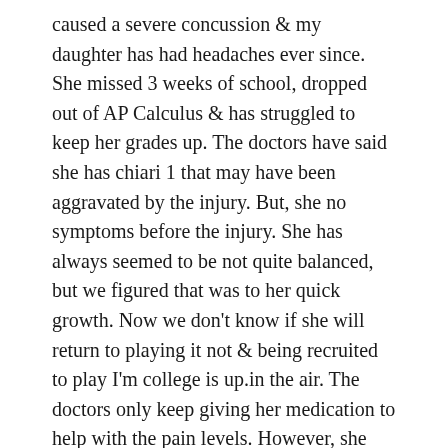caused a severe concussion & my daughter has had headaches ever since. She missed 3 weeks of school, dropped out of AP Calculus & has struggled to keep her grades up. The doctors have said she has chiari 1 that may have been aggravated by the injury. But, she no symptoms before the injury. She has always seemed to be not quite balanced, but we figured that was to her quick growth. Now we don't know if she will return to playing it not & being recruited to play I'm college is up.in the air. The doctors only keep giving her medication to help with the pain levels. However, she still has headaches every day. When she goes to jump & hit a volleyball, she feels pressure build up. I